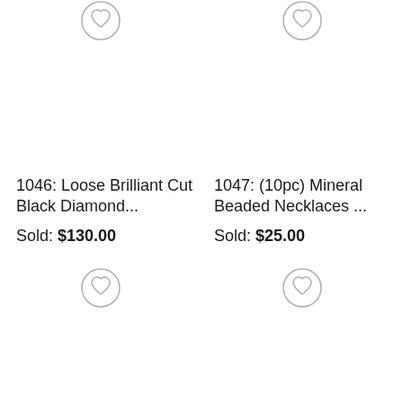[Figure (other): Heart/favorite icon circle button at top of left product card (partially visible)]
[Figure (other): Heart/favorite icon circle button at top of right product card (partially visible)]
1046: Loose Brilliant Cut Black Diamond...
Sold: $130.00
1047: (10pc) Mineral Beaded Necklaces ...
Sold: $25.00
[Figure (other): Heart/favorite icon circle button at bottom of left product card]
[Figure (other): Heart/favorite icon circle button at bottom of right product card]